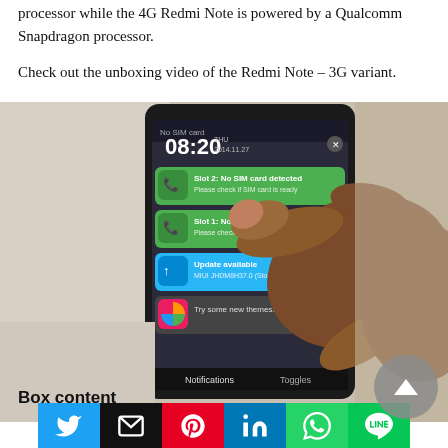processor while the 4G Redmi Note is powered by a Qualcomm Snapdragon processor.
Check out the unboxing video of the Redmi Note – 3G variant.
[Figure (photo): A hand interacting with a Xiaomi Redmi Note smartphone screen showing MIUI notifications panel with time 08:20, SIM card alerts, update notification, and a themes notification. Bottom of screen shows Notifications and Toggles tabs.]
Box content
[Figure (infographic): Social sharing bar with buttons for Twitter, Email, Pinterest, LinkedIn, WhatsApp, and LINE]